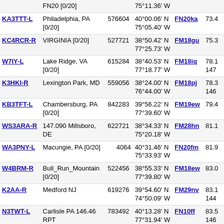| Callsign | Location | ID | Coordinates | Grid | Dist |
| --- | --- | --- | --- | --- | --- |
| KA3TTT-L | Philadelphia, PA [0/20] | 576604 | 40°00.06' N 75°05.40' W | FN20ka | 73.4 |
| KC4RCR-R | VIRGINIA [0/20] | 527721 | 38°50.42' N 77°25.73' W | FM18gu | 75.3 |
| W7IY-L | Lake Ridge, VA [0/20] | 615284 | 38°40.53' N 77°18.77' W | FM18iq | 78.1 147 |
| K3HKI-R | Lexington Park, MD | 559056 | 38°24.00' N 76°44.00' W | FM18pj | 78.3 146 |
| KB3TFT-L | Chambersburg, PA [0/20] | 842283 | 39°56.22' N 77°39.60' W | FM19ew | 79.4 |
| WS3ARA-R | 147.090 Millsboro, DE | 622721 | 38°34.33' N 75°20.18' W | FM28hn | 81.1 |
| WA3PNY-L | Macungie, PA [0/20] | 4064 | 40°31.46' N 75°33.93' W | FN20fm | 81.9 |
| W4BRM-R | Bull_Run_Mountain [0/20] | 522456 | 38°55.33' N 77°39.80' W | FM18ew | 83.0 |
| K2AA-R | Medford NJ | 619276 | 39°54.60' N 74°50.09' W | FM29nv | 83.1 144 |
| N3TWT-L | Carlisle PA 146.46 RPT | 783492 | 40°13.28' N 77°31.94' W | FN10ff | 83.5 146 |
| W3LR-R | Coopersburg, PA [0/20] | 230150 | 40°31.73' N 75°20.98' W | FN20hm | 88.1 |
| KC3ELT-L | Coopersburg,PA [0/40] | 250856 | 40°31.97' N 75°20.54' W | FN20hm | 88.6 |
| K2BR-R | Egg Harbor Twp, NJ /Private | 553401 | 39°24.07' N 74°38.07' W | FM29qj | 88.7 146 |